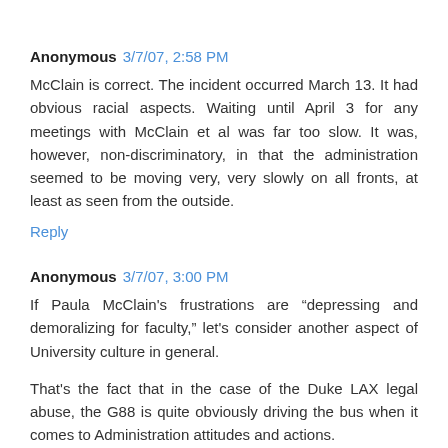Anonymous 3/7/07, 2:58 PM
McClain is correct. The incident occurred March 13. It had obvious racial aspects. Waiting until April 3 for any meetings with McClain et al was far too slow. It was, however, non-discriminatory, in that the administration seemed to be moving very, very slowly on all fronts, at least as seen from the outside.
Reply
Anonymous 3/7/07, 3:00 PM
If Paula McClain's frustrations are “depressing and demoralizing for faculty,” let's consider another aspect of University culture in general.
That's the fact that in the case of the Duke LAX legal abuse, the G88 is quite obviously driving the bus when it comes to Administration attitudes and actions.